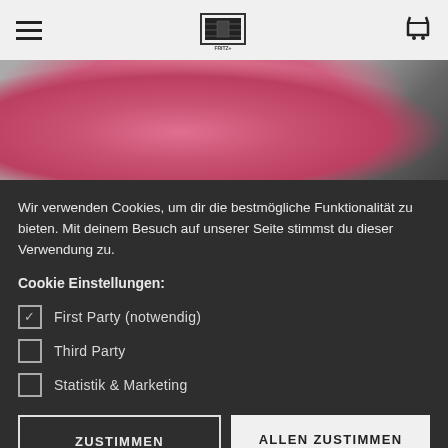Navigation header with hamburger menu, logo, and cart icon
[Figure (photo): Close-up of a pink fluffy/furry jacket or coat with tiled background visible]
Wir verwenden Cookies, um dir die bestmögliche Funktionalität zu bieten. Mit deinem Besuch auf unserer Seite stimmst du dieser Verwendung zu.
Cookie Einstellungen:
☑ First Party (notwendig)
☐ Third Party
☐ Statistik & Marketing
ZUSTIMMEN
ALLEN ZUSTIMMEN